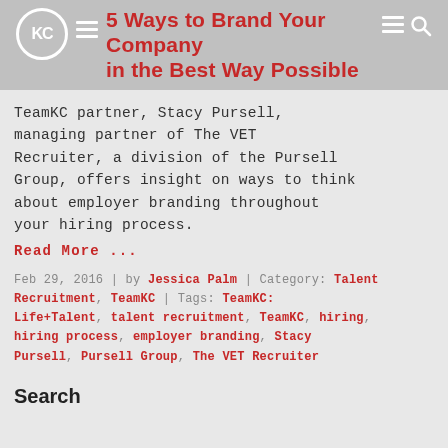5 Ways to Brand Your Company in the Best Way Possible
TeamKC partner, Stacy Pursell, managing partner of The VET Recruiter, a division of the Pursell Group, offers insight on ways to think about employer branding throughout your hiring process.
Read More ...
Feb 29, 2016 | by Jessica Palm | Category: Talent Recruitment, TeamKC | Tags: TeamKC: Life+Talent, talent recruitment, TeamKC, hiring, hiring process, employer branding, Stacy Pursell, Pursell Group, The VET Recruiter
Search